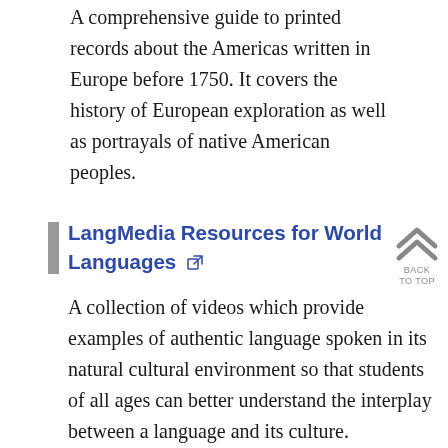A comprehensive guide to printed records about the Americas written in Europe before 1750. It covers the history of European exploration as well as portrayals of native American peoples.
LangMedia Resources for World Languages
A collection of videos which provide examples of authentic language spoken in its natural cultural environment so that students of all ages can better understand the interplay between a language and its culture.